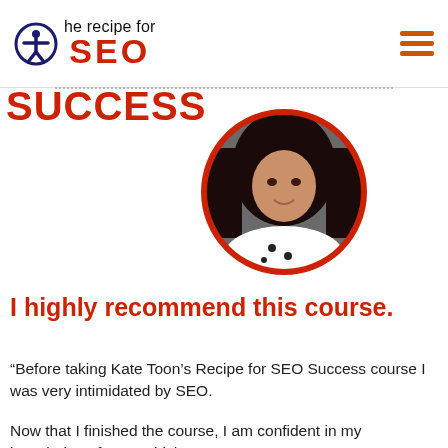The recipe for SEO SUCCESS
[Figure (photo): Circular portrait photo of a woman with dark hair wearing a white polka-dot top, framed with a red circular border]
I highly recommend this course.
“Before taking Kate Toon’s Recipe for SEO Success course I was very intimidated by SEO.
Now that I finished the course, I am confident in my knowledge of SEO which I